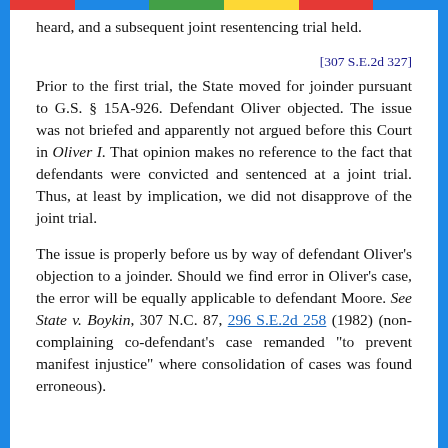heard, and a subsequent joint resentencing trial held.
[307 S.E.2d 327]
Prior to the first trial, the State moved for joinder pursuant to G.S. § 15A-926. Defendant Oliver objected. The issue was not briefed and apparently not argued before this Court in Oliver I. That opinion makes no reference to the fact that defendants were convicted and sentenced at a joint trial. Thus, at least by implication, we did not disapprove of the joint trial.
The issue is properly before us by way of defendant Oliver's objection to a joinder. Should we find error in Oliver's case, the error will be equally applicable to defendant Moore. See State v. Boykin, 307 N.C. 87, 296 S.E.2d 258 (1982) (non-complaining co-defendant's case remanded "to prevent manifest injustice" where consolidation of cases was found erroneous).